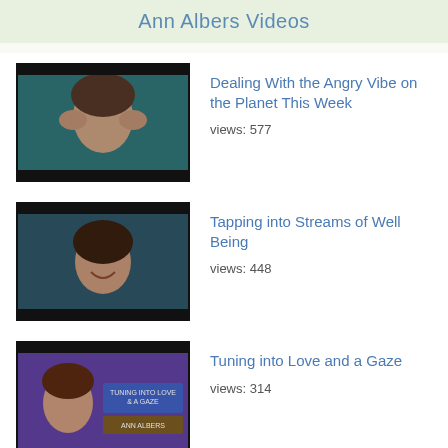Ann Albers Videos
[Figure (photo): Video thumbnail showing a woman with hands near her face against a teal background]
Dealing With the Angry Vibe on the Planet This Week
views: 577
[Figure (photo): Video thumbnail showing a smiling woman with dark hair]
Tapping into Streams of Well Being
views: 448
[Figure (photo): Video thumbnail with text: TUNING INTO LOVE & A GAZE, ANN ALBERS, showing a woman]
Tuning into Love and a Gaze
views: 314
back to top ▲
Popular Authors
Lee Carroll
Steve Rother
Contact Us
Advertise on Spirit Library
Contact Forms